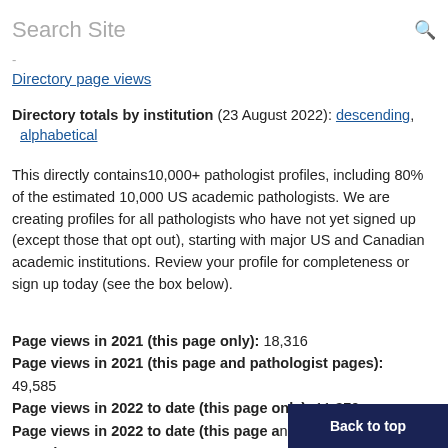Search Site
-
Directory page views
Directory totals by institution (23 August 2022): descending, alphabetical
This directly contains10,000+ pathologist profiles, including 80% of the estimated 10,000 US academic pathologists. We are creating profiles for all pathologists who have not yet signed up (except those that opt out), starting with major US and Canadian academic institutions. Review your profile for completeness or sign up today (see the box below).
Page views in 2021 (this page only): 18,316
Page views in 2021 (this page and pathologist pages): 49,585
Page views in 2022 to date (this page only): 11,370
Page views in 2022 to date (this page and pathologist pages): 111,377
Back to top